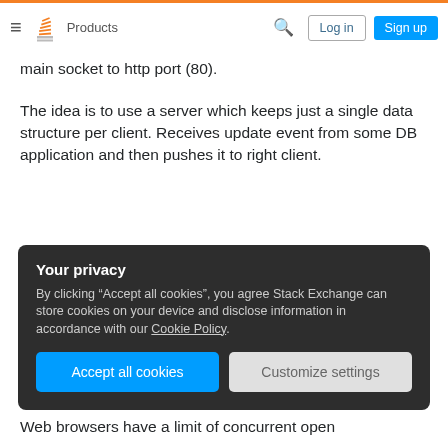≡ [Stack Overflow logo] Products 🔍 Log in Sign up
main socket to http port (80).
The idea is to use a server which keeps just a single data structure per client. Receives update event from some DB application and then pushes it to right client.
B) No, you have to use Apache and http client on iPhone side. Then you should know that whole COMET solution is in fact work around for limitations of HTTP protocol and Apache / PHP.
Your privacy
By clicking "Accept all cookies", you agree Stack Exchange can store cookies on your device and disclose information in accordance with our Cookie Policy.
[Accept all cookies] [Customize settings]
Web browsers have a limit of concurrent open